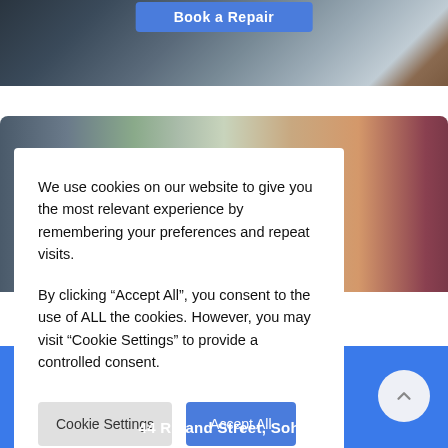[Figure (photo): Laptop being repaired, components visible on table]
[Figure (photo): Person delivering or handling a package, cardboard box visible]
We use cookies on our website to give you the most relevant experience by remembering your preferences and repeat visits.

By clicking “Accept All”, you consent to the use of ALL the cookies. However, you may visit “Cookie Settings” to provide a controlled consent.
Cookie Settings
Accept All
44 Roland Street, Soho